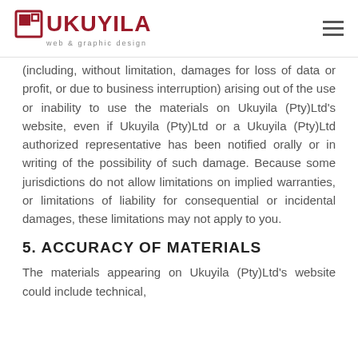UKUYILA web & graphic design
(including, without limitation, damages for loss of data or profit, or due to business interruption) arising out of the use or inability to use the materials on Ukuyila (Pty)Ltd's website, even if Ukuyila (Pty)Ltd or a Ukuyila (Pty)Ltd authorized representative has been notified orally or in writing of the possibility of such damage. Because some jurisdictions do not allow limitations on implied warranties, or limitations of liability for consequential or incidental damages, these limitations may not apply to you.
5. ACCURACY OF MATERIALS
The materials appearing on Ukuyila (Pty)Ltd's website could include technical,